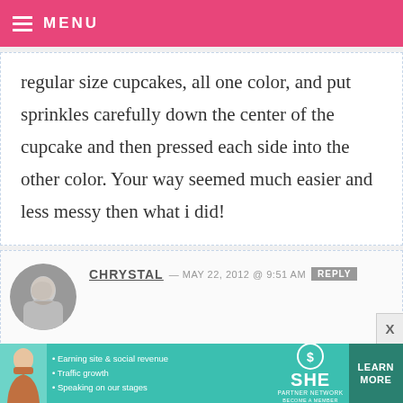MENU
regular size cupcakes, all one color, and put sprinkles carefully down the center of the cupcake and then pressed each side into the other color. Your way seemed much easier and less messy then what i did!
CHRYSTAL — MAY 22, 2012 @ 9:51 AM REPLY
So nice of you to rip off someones work and not give proper citation. Did
[Figure (infographic): SHE Partner Network advertisement banner with woman photo, bullet points about earning site & social revenue, traffic growth, speaking on our stages, SHE logo, and LEARN MORE button]